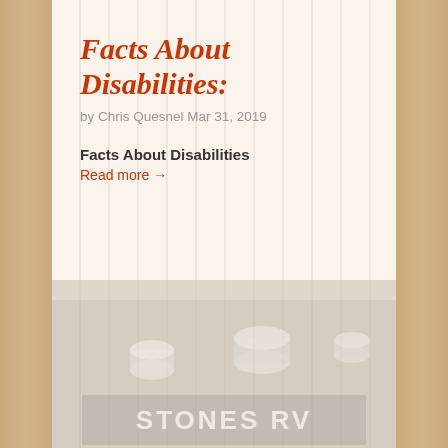Facts About Disabilities:
by Chris Quesnel Mar 31, 2019
Facts About Disabilities
Read more →
[Figure (photo): Faded photograph showing cups/containers on a surface with 'STONES RV' text visible on a sign or board in the foreground]